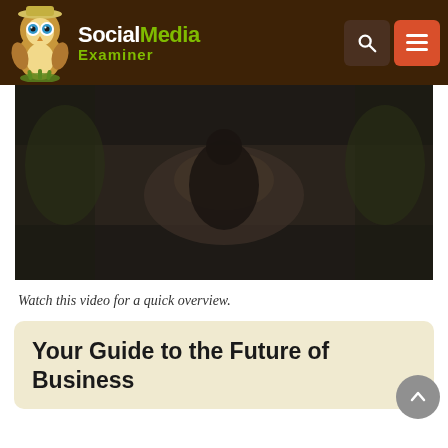Social Media Examiner
[Figure (screenshot): Blurred dark video thumbnail showing an outdoor scene]
Watch this video for a quick overview.
Your Guide to the Future of Business